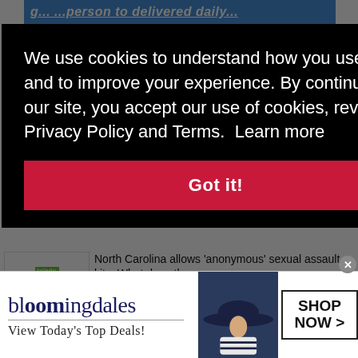[Figure (screenshot): Blue banner at top of news website page]
We use cookies to understand how you use our site and to improve your experience. By continuing to use our site, you accept our use of cookies, revised Privacy Policy and Terms.  Learn more
Got it!
[Figure (screenshot): North Carolina allows 'anonymous' sexual assault kits. What does th…]
Toledo City Paper
/ SEPTEMBER 05, 2022
What you need to know about the
[Figure (advertisement): Bloomingdale's advertisement: bloomingdales, View Today's Top Deals!, SHOP NOW >]